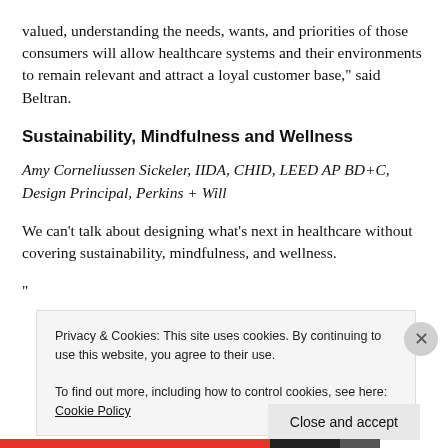valued, understanding the needs, wants, and priorities of those consumers will allow healthcare systems and their environments to remain relevant and attract a loyal customer base," said Beltran.
Sustainability, Mindfulness and Wellness
Amy Corneliussen Sickeler, IIDA, CHID, LEED AP BD+C, Design Principal, Perkins + Will
We can't talk about designing what's next in healthcare without covering sustainability, mindfulness, and wellness.
Privacy & Cookies: This site uses cookies. By continuing to use this website, you agree to their use. To find out more, including how to control cookies, see here: Cookie Policy
Close and accept